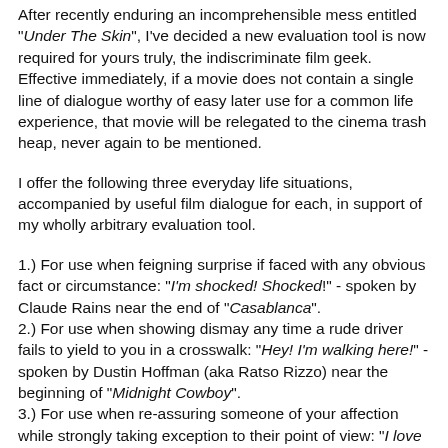After recently enduring an incomprehensible mess entitled "Under The Skin", I've decided a new evaluation tool is now required for yours truly, the indiscriminate film geek. Effective immediately, if a movie does not contain a single line of dialogue worthy of easy later use for a common life experience, that movie will be relegated to the cinema trash heap, never again to be mentioned.
I offer the following three everyday life situations, accompanied by useful film dialogue for each, in support of my wholly arbitrary evaluation tool.
1.) For use when feigning surprise if faced with any obvious fact or circumstance: "I'm shocked! Shocked!" - spoken by Claude Rains near the end of "Casablanca".
2.) For use when showing dismay any time a rude driver fails to yield to you in a crosswalk: "Hey! I'm walking here!" - spoken by Dustin Hoffman (aka Ratso Rizzo) near the beginning of "Midnight Cowboy".
3.) For use when re-assuring someone of your affection while strongly taking exception to their point of view: "I love you but you don't know what the hell you're talking about"- spoken by the adolescent protagonist to his young girlfriend